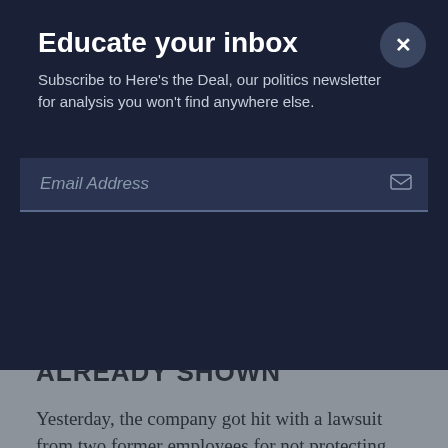Educate your inbox
Subscribe to Here's the Deal, our politics newsletter for analysis you won't find anywhere else.
Email Address
ALREADY SHOWN
Yesterday, the company got hit with a lawsuit from two former employees for not protecting Social Security numbers, salary details and other personal records.
Sony has fought back in one way, hiring high-profile lawyer David Boies, who, in a letter on Sunday, warned news organizations not to publish details from